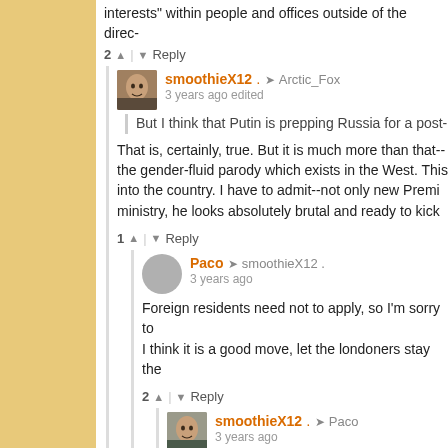interests" within people and offices outside of the direc-
2 ▲ | ▼ Reply
smoothieX12 . → Arctic_Fox
3 years ago edited
But I think that Putin is prepping Russia for a post-
That is, certainly, true. But it is much more than that-- the gender-fluid parody which exists in the West. This into the country. I have to admit--not only new Premi ministry, he looks absolutely brutal and ready to kick
1 ▲ | ▼ Reply
Paco → smoothieX12 .
3 years ago
Foreign residents need not to apply, so I'm sorry to I think it is a good move, let the londoners stay the
2 ▲ | ▼ Reply
smoothieX12 . → Paco
3 years ago
I do not qualify for any position--I am US citizen, I dream of becoming President of Russia or even m